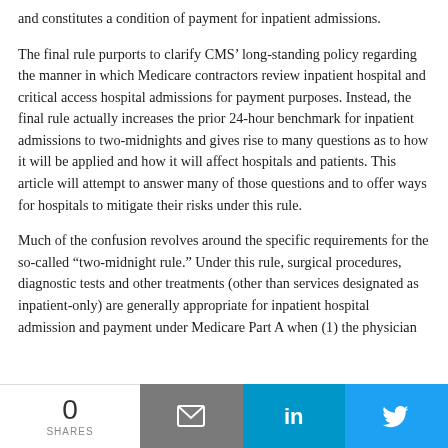and constitutes a condition of payment for inpatient admissions.
The final rule purports to clarify CMS’ long-standing policy regarding the manner in which Medicare contractors review inpatient hospital and critical access hospital admissions for payment purposes. Instead, the final rule actually increases the prior 24-hour benchmark for inpatient admissions to two-midnights and gives rise to many questions as to how it will be applied and how it will affect hospitals and patients. This article will attempt to answer many of those questions and to offer ways for hospitals to mitigate their risks under this rule.
Much of the confusion revolves around the specific requirements for the so-called “two-midnight rule.” Under this rule, surgical procedures, diagnostic tests and other treatments (other than services designated as inpatient-only) are generally appropriate for inpatient hospital admission and payment under Medicare Part A when (1) the physician
0 SHARES